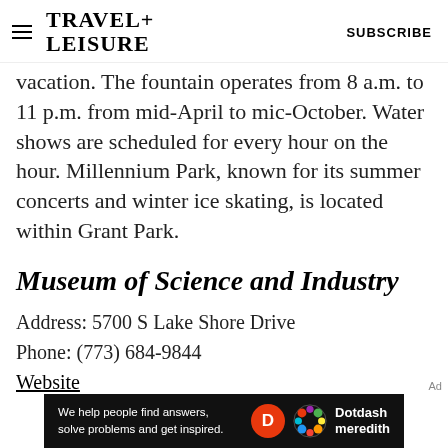TRAVEL+ LEISURE  SUBSCRIBE
vacation. The fountain operates from 8 a.m. to 11 p.m. from mid-April to mic-October. Water shows are scheduled for every hour on the hour. Millennium Park, known for its summer concerts and winter ice skating, is located within Grant Park.
Museum of Science and Industry
Address: 5700 S Lake Shore Drive
Phone: (773) 684-9844
Website
[Figure (other): Dotdash Meredith advertisement banner: 'We help people find answers, solve problems and get inspired.']